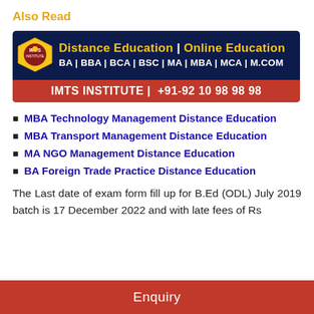Also Read
[Figure (infographic): IMTS Institute banner advertising Distance Education and Online Education programs including BA, BBA, BCA, BSC, MA, MBA, MCA, M.COM with contact number +91-92 10 98 98 98]
MBA Technology Management Distance Education
MBA Transport Management Distance Education
MA NGO Management Distance Education
BA Foreign Trade Practice Distance Education
The Last date of exam form fill up for B.Ed (ODL) July 2019 batch is 17 December 2022 and with late fees of Rs
Enquiry